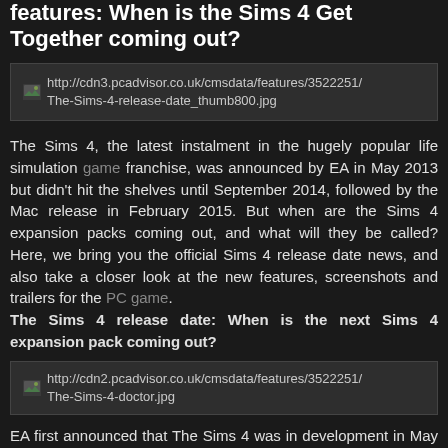features: When is the Sims 4 Get Together coming out?
[Figure (screenshot): Broken image placeholder showing URL: http://cdn3.pcadvisor.co.uk/cmsdata/features/3522251/The-Sims-4-release-date_thumb800.jpg]
The Sims 4, the latest instalment in the hugely popular life simulation game franchise, was announced by EA in May 2013 but didn't hit the shelves until September 2014, followed by the Mac release in February 2015. But when are the Sims 4 expansion packs coming out, and what will they be called? Here, we bring you the official Sims 4 release date news, and also take a closer look at the new features, screenshots and trailers for the PC game.
The Sims 4 release date: When is the next Sims 4 expansion pack coming out?
[Figure (screenshot): Broken image placeholder showing URL: http://cdn2.pcadvisor.co.uk/cmsdata/features/3522251/The-Sims-4-doctor.jpg]
EA first announced that The Sims 4 was in development in May 2013, and suggested that we'd see the game in early